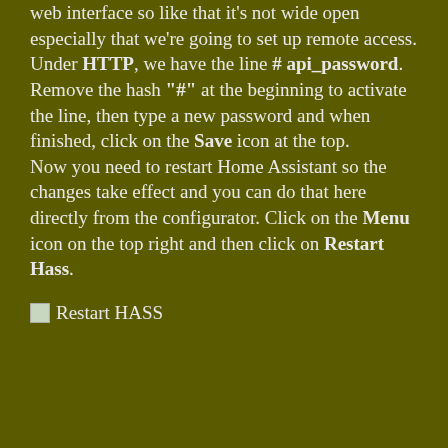web interface so like that it's not wide open especially that we're going to set up remote access.
Under HTTP, we have the line # api_password. Remove the hash "#" at the beginning to activate the line, then type a new password and when finished, click on the Save icon at the top.
Now you need to restart Home Assistant so the changes take effect and you can do that here directly from the configurator. Click on the Menu icon on the top right and then click on Restart Hass.
[Figure (screenshot): Image placeholder labeled 'Restart HASS']